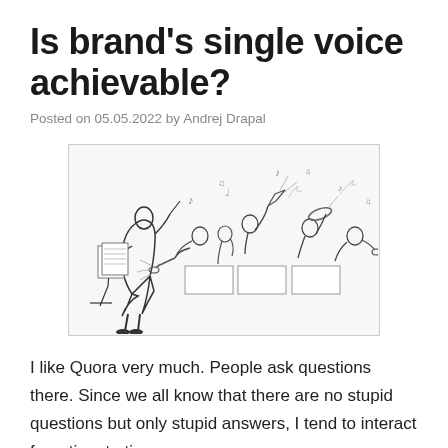Is brand's single voice achievable?
Posted on 05.05.2022 by Andrej Drapal
[Figure (illustration): Cartoon illustration of a conductor (in black, shown from behind) trying to conduct a chaotic orchestra of musicians each playing loudly and independently, with musical notes and sound effects flying everywhere.]
I like Quora very much. People ask questions there. Since we all know that there are no stupid questions but only stupid answers, I tend to interact from time to time,